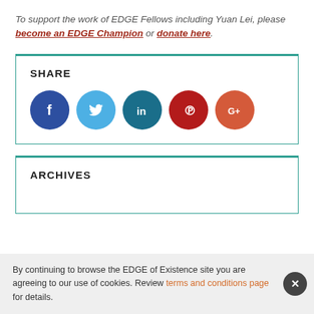To support the work of EDGE Fellows including Yuan Lei, please become an EDGE Champion or donate here.
SHARE
[Figure (infographic): Social media share buttons: Facebook, Twitter, LinkedIn, Pinterest, Google+]
ARCHIVES
By continuing to browse the EDGE of Existence site you are agreeing to our use of cookies. Review terms and conditions page for details.